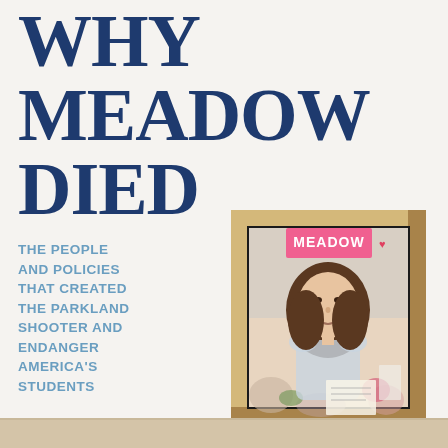WHY MEADOW DIED
THE PEOPLE AND POLICIES THAT CREATED THE PARKLAND SHOOTER AND ENDANGER AMERICA'S STUDENTS
[Figure (photo): A wooden picture frame sitting on a shelf containing a photo of a young woman (Meadow) with a handwritten 'MEADOW' label on the frame, surrounded by flowers and notes]